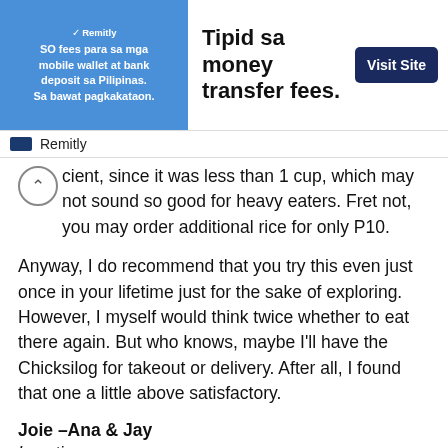[Figure (infographic): Remitly advertisement banner: image on left with text 'SO fees para sa mga mobile wallet at bank deposit sa Pilipinas. Sa bawat pagkakataon.' on blue background; center text reads 'Tipid sa money transfer fees.' with a 'Visit Site' button on the right; Remitly logo bar below.]
...cient, since it was less than 1 cup, which may not sound so good for heavy eaters. Fret not, you may order additional rice for only P10.
Anyway, I do recommend that you try this even just once in your lifetime just for the sake of exploring. However, I myself would think twice whether to eat there again. But who knows, maybe I'll have the Chicksilog for takeout or delivery. After all, I found that one a little above satisfactory.
Joie –Ana & Jay
Location:
Nenita Dela Cruz Tuazon Building
MacArthur Highway, Abangan Norte
Marilao, Bulacan
Contact No.: +639997076504